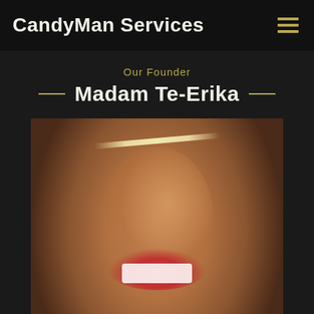CandyMan Services
Our Founder
Madam Te-Erika
[Figure (photo): Portrait photo of Madam Te-Erika, a woman wearing a beaded headband, smiling, with gold earrings. Dark background.]